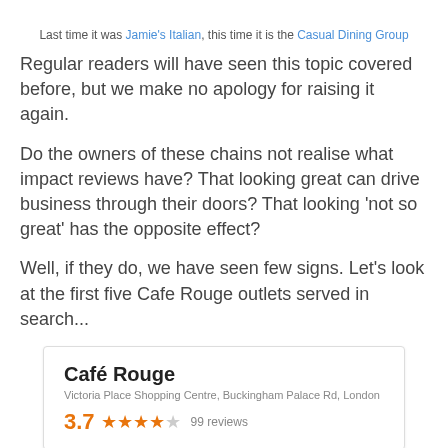Last time it was Jamie's Italian, this time it is the Casual Dining Group
Regular readers will have seen this topic covered before, but we make no apology for raising it again.
Do the owners of these chains not realise what impact reviews have? That looking great can drive business through their doors? That looking 'not so great' has the opposite effect?
Well, if they do, we have seen few signs. Let's look at the first five Cafe Rouge outlets served in search...
[Figure (screenshot): Café Rouge listing card showing Victoria Place Shopping Centre, Buckingham Palace Rd, London, rating 3.7 with 4 orange stars and 1 empty star, 99 reviews]
[Figure (screenshot): Second Café Rouge listing card, partially visible showing title]